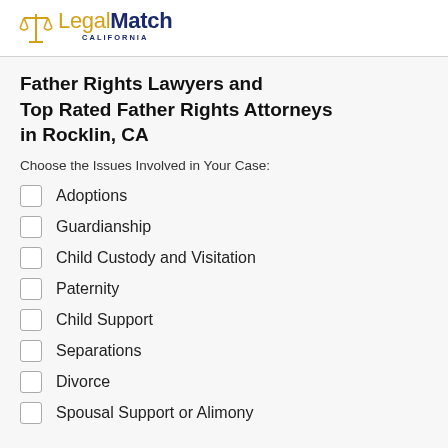LegalMatch CALIFORNIA
Father Rights Lawyers and Top Rated Father Rights Attorneys in Rocklin, CA
Choose the Issues Involved in Your Case:
Adoptions
Guardianship
Child Custody and Visitation
Paternity
Child Support
Separations
Divorce
Spousal Support or Alimony